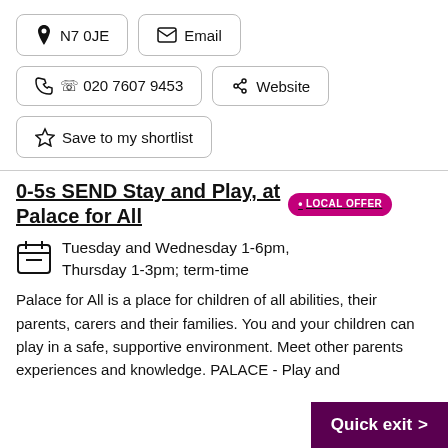N7 0JE
Email
020 7607 9453
Website
Save to my shortlist
0-5s SEND Stay and Play, at Palace for All • LOCAL OFFER
Tuesday and Wednesday 1-6pm, Thursday 1-3pm; term-time
Palace for All is a place for children of all abilities, their parents, carers and their families. You and your children can play in a safe, supportive environment. Meet other parents experiences and knowledge. PALACE - Play and
Quick exit >